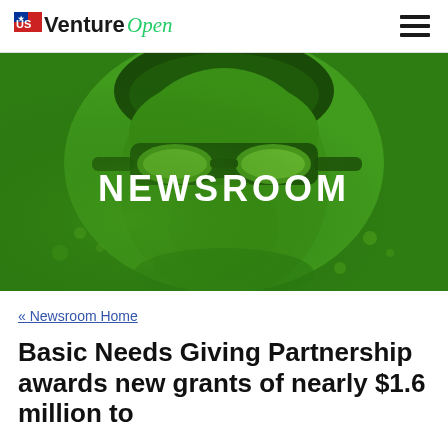US Venture Open
[Figure (photo): Close-up of a swimmer's face underwater with green tint overlay, wearing goggles and swim cap, with 'NEWSROOM' text overlaid in white bold letters]
« Newsroom Home
Basic Needs Giving Partnership awards new grants of nearly $1.6 million to